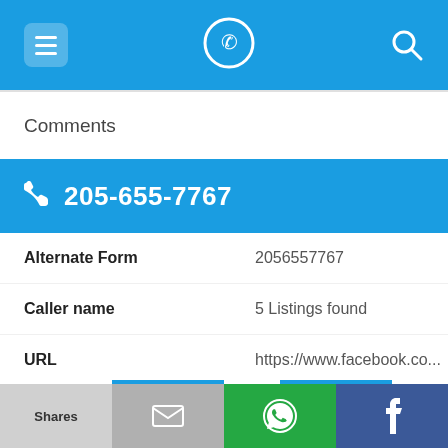205-655-7767 phone lookup app header
Comments
205-655-7767
| Field | Value |
| --- | --- |
| Alternate Form | 2056557767 |
| Caller name | 5 Listings found |
| URL | https://www.facebook.co... |
| Last User Search | No searches yet |
Comments
Shares | (email icon) | (WhatsApp icon) | f